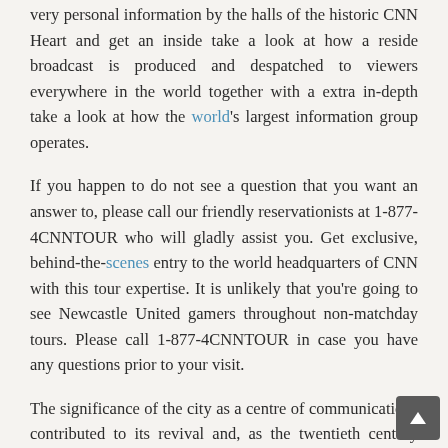very personal information by the halls of the historic CNN Heart and get an inside take a look at how a reside broadcast is produced and despatched to viewers everywhere in the world together with a extra in-depth take a look at how the world's largest information group operates.
If you happen to do not see a question that you want an answer to, please call our friendly reservationists at 1-877-4CNNTOUR who will gladly assist you. Get exclusive, behind-the-scenes entry to the world headquarters of CNN with this tour expertise. It is unlikely that you're going to see Newcastle United gamers throughout non-matchday tours. Please call 1-877-4CNNTOUR in case you have any questions prior to your visit.
The significance of the city as a centre of communications contributed to its revival and, as the twentieth century progressed, Tours grew to become a dynamic conurbation, economically oriented towards the service sector. Given our city centre location, we're unable to supply parking on the stadium however we do have implausible public transport